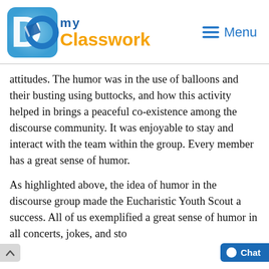[Figure (logo): DoMyClasswork logo with blue 'DO' letters and orange 'Classwork' text, with a stylized disc/book icon]
≡ Menu
attitudes. The humor was in the use of balloons and their busting using buttocks, and how this activity helped in brings a peaceful co-existence among the discourse community. It was enjoyable to stay and interact with the team within the group. Every member has a great sense of humor.
As highlighted above, the idea of humor in the discourse group made the Eucharistic Youth Scout a success. All of us exemplified a great sense of humor in all concerts, jokes, and sto…